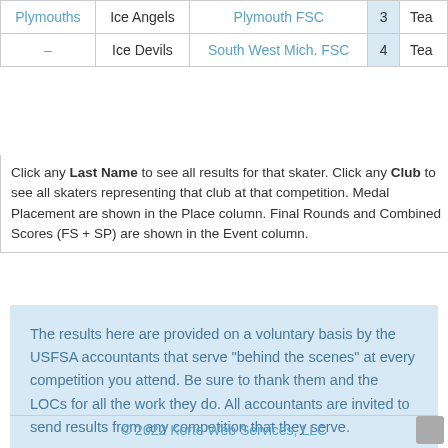| Name | Team | Club | Place | Event |
| --- | --- | --- | --- | --- |
| Plymouths | Ice Angels | Plymouth FSC | 3 | Tea… |
| – | Ice Devils | South West Mich. FSC | 4 | Tea… |
Click any Last Name to see all results for that skater. Click any Club to see all skaters representing that club at that competition. Medal Placement are shown in the Place column. Final Rounds and Combined Scores (FS + SP) are shown in the Event column.
The results here are provided on a voluntary basis by the USFSA accountants that serve "behind the scenes" at every competition you attend. Be sure to thank them and the LOCs for all the work they do. All accountants are invited to send results from any competition that they serve.
© 2022 Korte Web Services, LLC